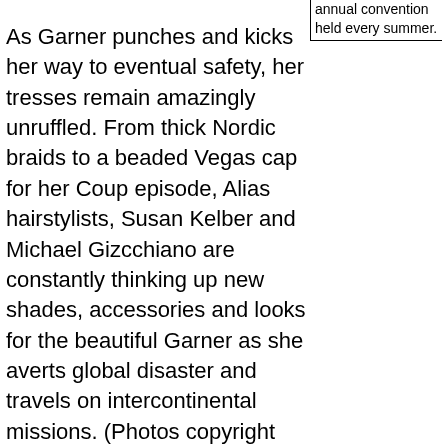annual convention held every summer.
As Garner punches and kicks her way to eventual safety, her tresses remain amazingly unruffled. From thick Nordic braids to a beaded Vegas cap for her Coup episode, Alias hairstylists, Susan Kelber and Michael Gizcchiano are constantly thinking up new shades, accessories and looks for the beautiful Garner as she averts global disaster and travels on intercontinental missions. (Photos copyright ABC - ALIAS, Craig Sjodin, The Coup, Jennifer Garner - all rights reserved.)